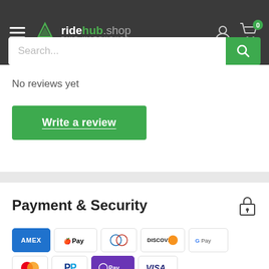[Figure (screenshot): ridehub.shop navigation bar with hamburger menu, logo, user icon, and cart icon with 0 badge, plus search bar]
No reviews yet
Write a review
Payment & Security
[Figure (other): Payment method icons: Amex, Apple Pay, Diners Club, Discover, Google Pay, Mastercard, PayPal, Shop Pay, Visa]
Your payment information is processed securely. We do not store credit card details nor have access to your credit card information.